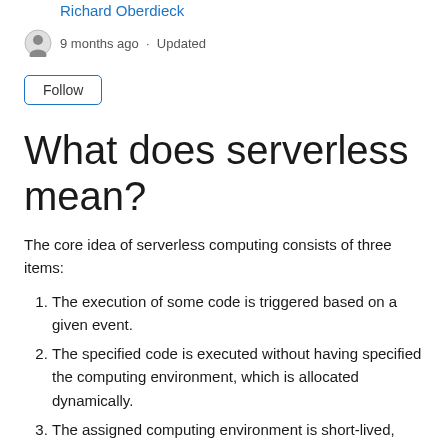Richard Oberdieck
9 months ago · Updated
Follow
What does serverless mean?
The core idea of serverless computing consists of three items:
The execution of some code is triggered based on a given event.
The specified code is executed without having specified the computing environment, which is allocated dynamically.
The assigned computing environment is short-lived,